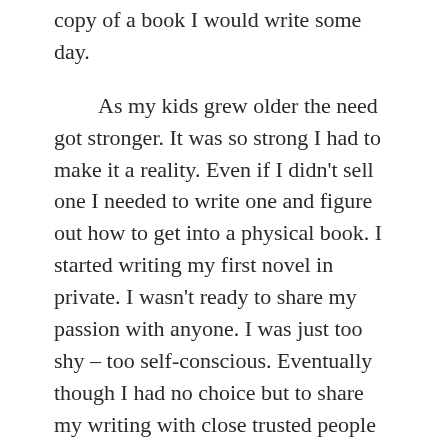copy of a book I would write some day.
As my kids grew older the need got stronger. It was so strong I had to make it a reality. Even if I didn't sell one I needed to write one and figure out how to get into a physical book. I started writing my first novel in private. I wasn't ready to share my passion with anyone. I was just too shy – too self-conscious. Eventually though I had no choice but to share my writing with close trusted people in order to get feedback – my mother being the first – I could trust her to be honest, yet kind.
Armed with my mother's input and